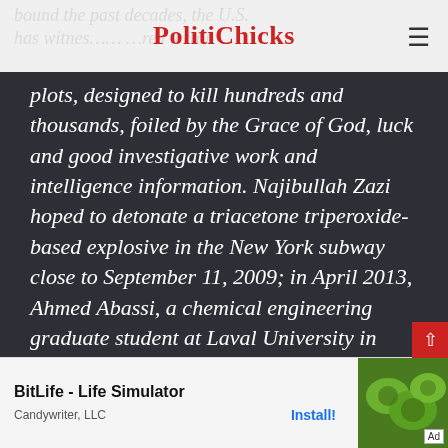PolitiChicks
plots, designed to kill hundreds and thousands, foiled by the Grace of God, luck and good investigative work and intelligence information. Najibullah Zazi hoped to detonate a triacetone triperoxide-based explosive in the New York subway close to September 11, 2009; in April 2013, Ahmed Abassi, a chemical engineering graduate student at Laval University in Quebec, planned to murder upwards of 100,000 people, by contaminating the water supply of a major U.S. city."
[Figure (screenshot): BitLife - Life Simulator ad banner by Candywriter, LLC with Install button and green kiwi fruit image]